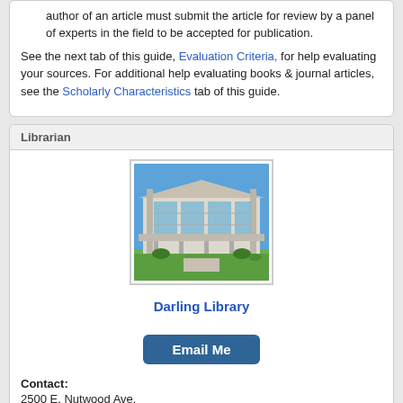author of an article must submit the article for review by a panel of experts in the field to be accepted for publication.
See the next tab of this guide, Evaluation Criteria, for help evaluating your sources. For additional help evaluating books & journal articles, see the Scholarly Characteristics tab of this guide.
Librarian
[Figure (photo): Photo of Darling Library building exterior, modern architecture with glass facade and blue sky]
Darling Library
Email Me
Contact:
2500 E. Nutwood Ave.
Fullerton, CA 92831